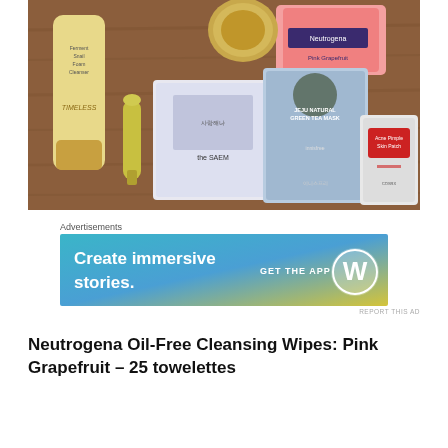[Figure (photo): Flat lay of Korean beauty and skincare products on a wooden surface, including a Timeless Ferment Snail Foam Cleanser tube, a gold compact, a small vial, The Saem product packet, a Jeju Natural Green Tea Mask packet, a Neutrogena pink grapefruit wipes pack, and an Acne Pimple patch packet.]
Advertisements
[Figure (screenshot): Advertisement banner with blue-to-yellow gradient background. Text reads 'Create immersive stories.' on the left, 'GET THE APP' in the center-right, and a WordPress logo (W in a circle) on the right.]
REPORT THIS AD
Neutrogena Oil-Free Cleansing Wipes: Pink Grapefruit – 25 towelettes